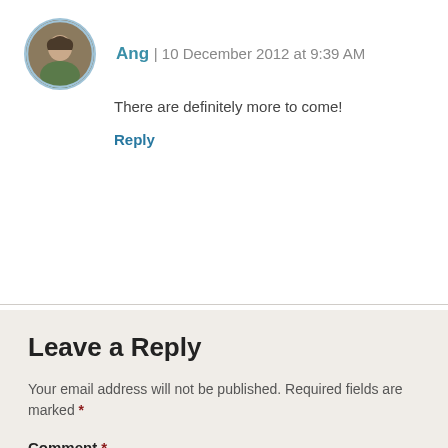[Figure (photo): Circular avatar photo of a person, bordered with light blue ring]
Ang | 10 December 2012 at 9:39 AM
There are definitely more to come!
Reply
Leave a Reply
Your email address will not be published. Required fields are marked *
Comment *